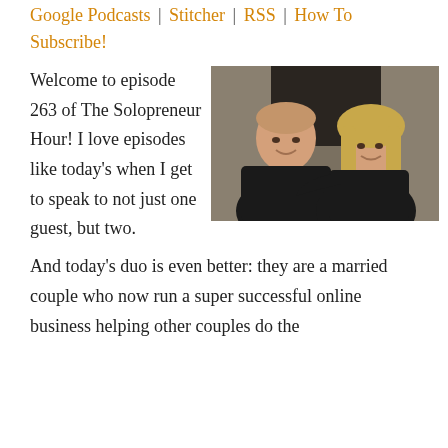Google Podcasts | Stitcher | RSS | How To Subscribe!
Welcome to episode 263 of The Solopreneur Hour! I love episodes like today's when I get to speak to not just one guest, but two.
[Figure (photo): A smiling man and woman (married couple) posing together outdoors in front of a wooden barn. Both wearing black. The woman has her arms around the man.]
And today's duo is even better: they are a married couple who now run a super successful online business helping other couples do the